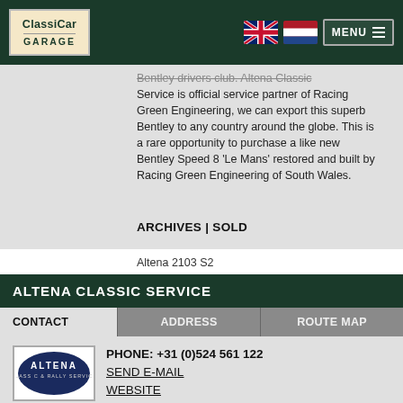ClassiCar GARAGE — MENU
Bentley drivers club. Altena Classic Service is official service partner of Racing Green Engineering, we can export this superb Bentley to any country around the globe. This is a rare opportunity to purchase a like new Bentley Speed 8 'Le Mans' restored and built by Racing Green Engineering of South Wales.
ARCHIVES | SOLD
Altena 2103 S2
ALTENA CLASSIC SERVICE
CONTACT | ADDRESS | ROUTE MAP
[Figure (logo): Altena Classic & Rally Service logo — dark navy oval with ALTENA text in white]
PHONE: +31 (0)524 561 122
SEND E-MAIL
WEBSITE